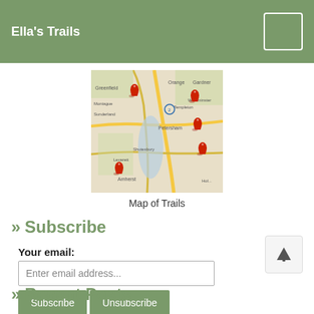Ella's Trails
[Figure (map): Map of trails showing locations in central Massachusetts area with red pin markers indicating trail locations near Orange, Westminster, Petersham, Amherst, and surrounding towns.]
Map of Trails
» Subscribe
Your email:
Enter email address...
Subscribe  Unsubscribe
» Recent Posts